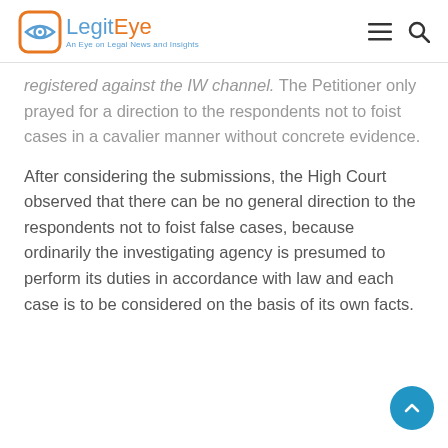LegitEye — An Eye on Legal News and Insights
registered against the IW channel. The Petitioner only prayed for a direction to the respondents not to foist cases in a cavalier manner without concrete evidence.
After considering the submissions, the High Court observed that there can be no general direction to the respondents not to foist false cases, because ordinarily the investigating agency is presumed to perform its duties in accordance with law and each case is to be considered on the basis of its own facts.